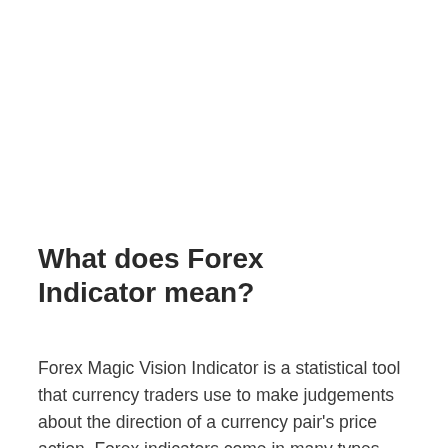What does Forex Indicator mean?
Forex Magic Vision Indicator is a statistical tool that currency traders use to make judgements about the direction of a currency pair's price action. Forex indicators come in many types, including leading indicators,